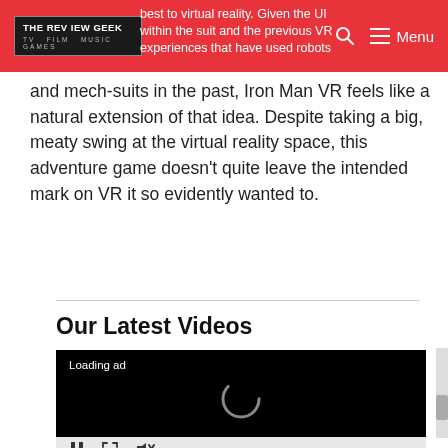THE REVIEW GEEK — TV FILM MUSIC GAMES
best to virtual reality. Given the UI within the suit and the previous VR experiences that have used robots and mech-suits in the past, Iron Man VR feels like a natural extension of that idea. Despite taking a big, meaty swing at the virtual reality space, this adventure game doesn't quite leave the intended mark on VR it so evidently wanted to.
Our Latest Videos
[Figure (screenshot): Video player showing a black screen with 'Loading ad' text and a spinner/loading indicator in the center, with video playback controls at the bottom (pause, resize, and mute buttons).]